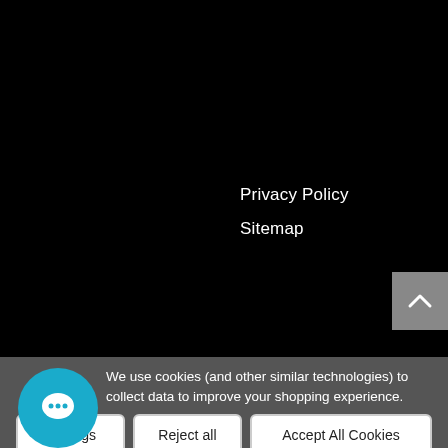Privacy Policy
Sitemap
[Figure (screenshot): Back to top scroll button — grey square with upward chevron arrow]
We use cookies (and other similar technologies) to collect data to improve your shopping experience.
[Figure (illustration): Teal/cyan circular chat bubble icon]
Settings
Reject all
Accept All Cookies